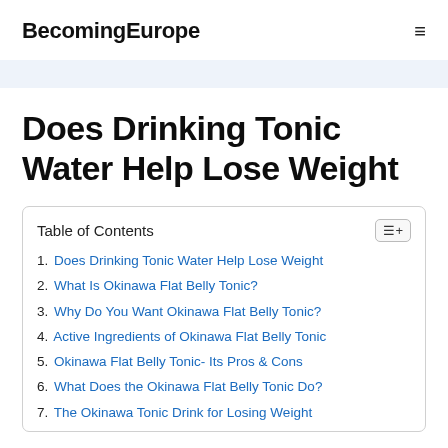BecomingEurope
Does Drinking Tonic Water Help Lose Weight
| Table of Contents |
| --- |
| 1. Does Drinking Tonic Water Help Lose Weight |
| 2. What Is Okinawa Flat Belly Tonic? |
| 3. Why Do You Want Okinawa Flat Belly Tonic? |
| 4. Active Ingredients of Okinawa Flat Belly Tonic |
| 5. Okinawa Flat Belly Tonic- Its Pros & Cons |
| 6. What Does the Okinawa Flat Belly Tonic Do? |
| 7. The Okinawa Tonic Drink for Losing Weight |